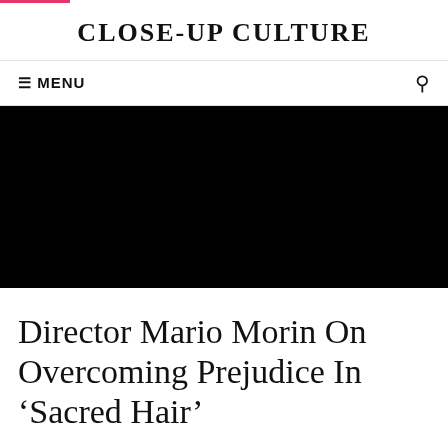CLOSE-UP CULTURE
≡ MENU
[Figure (photo): Large black hero image area, likely a film still or promotional image for the article about Sacred Hair]
Director Mario Morin On Overcoming Prejudice In ‘Sacred Hair’